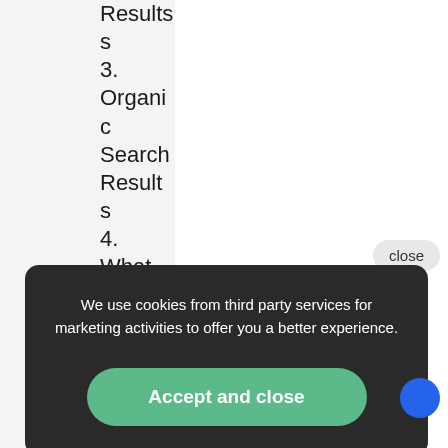Results 3. Organic Search Results
4. What
close
We use cookies from third party services for marketing activities to offer you a better experience.
Accept and close
search